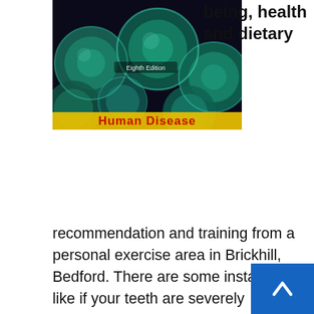[Figure (photo): Book cover of 'Human Disease' Eighth Edition showing microscopic image of blue-green spherical bacteria/cells on dark background with yellow 'Human Disease' text at bottom]
being, health and dietary
recommendation and training from a personal exercise area in Brickhill, Bedford. There are some instances, like if your teeth are severely discolored from taking sure antibiotics as a toddler, that not be suited to skilled whitening. The Meals and